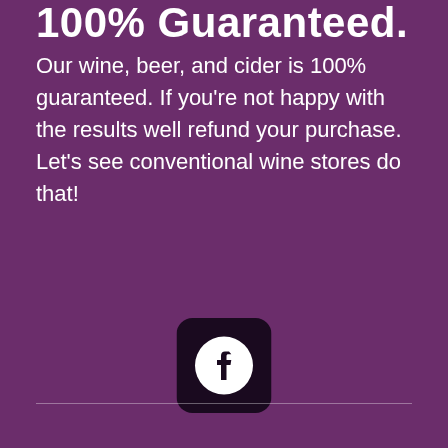100% Guaranteed.
Our wine, beer, and cider is 100% guaranteed. If you're not happy with the results well refund your purchase. Let's see conventional wine stores do that!
[Figure (logo): Facebook icon — dark rounded square with white Facebook 'f' logo centered inside]